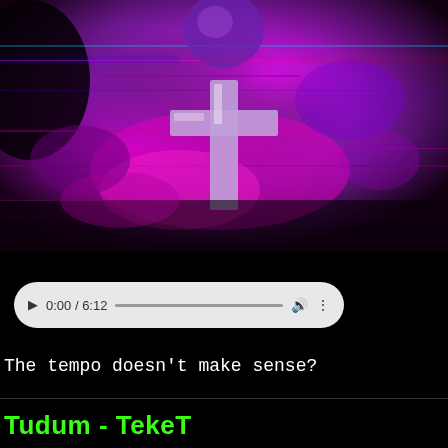[Figure (screenshot): Video thumbnail showing a glitchy purple/magenta surreal image with an inverted cross symbol in the center, heavily distorted vaporwave-style visuals with dark and bright magenta/purple tones]
[Figure (screenshot): Audio player control bar with play button, time display showing 0:00 / 6:12, progress bar, volume icon, and more options icon, on a light gray rounded rectangle background]
The tempo doesn't make sense?
Tudum - TekeT